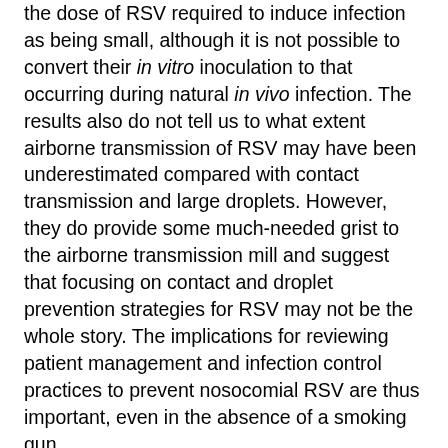the dose of RSV required to induce infection as being small, although it is not possible to convert their in vitro inoculation to that occurring during natural in vivo infection. The results also do not tell us to what extent airborne transmission of RSV may have been underestimated compared with contact transmission and large droplets. However, they do provide some much-needed grist to the airborne transmission mill and suggest that focusing on contact and droplet prevention strategies for RSV may not be the whole story. The implications for reviewing patient management and infection control practices to prevent nosocomial RSV are thus important, even in the absence of a smoking gun.
Some of the key scientific questions that still need to be resolved include: How long does airborne RSV remain infectious? What are the determinants of RSV...